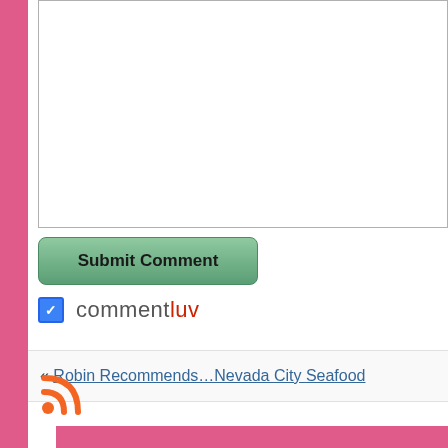[Figure (screenshot): A text area input box for comment submission, partially visible at top]
[Figure (screenshot): A green Submit Comment button]
commentluv
« Robin Recommends…Nevada City Seafood
[Figure (other): RSS feed icon in orange]